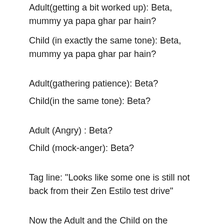Adult(getting a bit worked up): Beta, mummy ya papa ghar par hain?
Child (in exactly the same tone): Beta, mummy ya papa ghar par hain?
Adult(gathering patience): Beta?
Child(in the same tone): Beta?
Adult (Angry) : Beta?
Child (mock-anger): Beta?
Tag line: "Looks like some one is still not back from their Zen Estilo test drive"
Now the Adult and the Child on the phone were really good actors. They conveyed a lot through their expressions. But other than that rest all is awful.